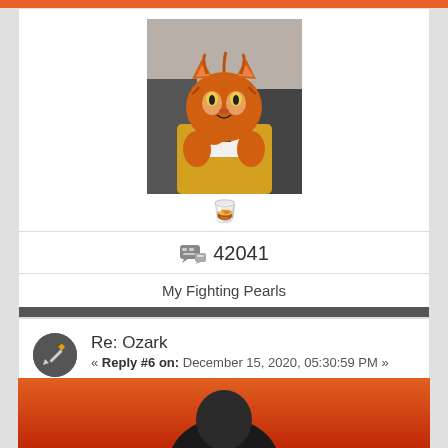[Figure (illustration): Profile avatar: cartoon/comic illustration of an anthropomorphic orange tiger wearing a yellow suit, in a black and white background scene]
42041
My Fighting Pearls
Re: Ozark
« Reply #6 on: December 15, 2020, 05:30:59 PM »
Quote from: WiregrassTiger on December 15, 2020, 04:46:56 PM
Sheâ€™s mighty limber for that.
[Figure (photo): Partial photo of a person against an orange/red background, cropped at bottom of page]